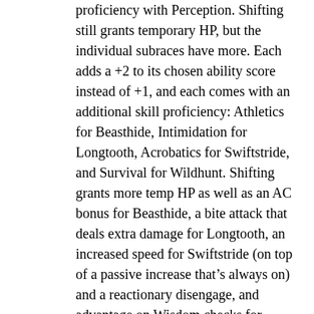proficiency with Perception. Shifting still grants temporary HP, but the individual subraces have more. Each adds a +2 to its chosen ability score instead of +1, and each comes with an additional skill proficiency: Athletics for Beasthide, Intimidation for Longtooth, Acrobatics for Swiftstride, and Survival for Wildhunt. Shifting grants more temp HP as well as an AC bonus for Beasthide, a bite attack that deals extra damage for Longtooth, an increased speed for Swiftstride (on top of a passive increase that’s always on) and a reactionary disengage, and advantage on Wisdom checks for Wildhunt (on top of another passive ability that helps track a target).
Warforged got a major overhaul. At base they only get +1 Constitution, while their Warforged Resilience grants them a bevy of immunities, advantages, resistances, and exceptions. They have